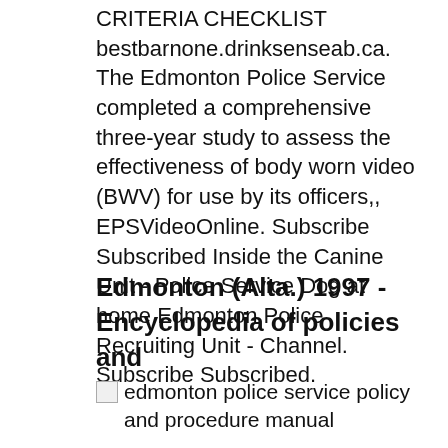CRITERIA CHECKLIST bestbarnone.drinksenseab.ca. The Edmonton Police Service completed a comprehensive three-year study to assess the effectiveness of body worn video (BWV) for use by its officers,, EPSVideoOnline. Subscribe Subscribed Inside the Canine Unit - Police Service Dog at home Edmonton Police Recruiting Unit - Channel. Subscribe Subscribed.
Edmonton (Alta.) 1997 - Encyclopedia of policies and
[Figure (other): Broken image placeholder with alt text: edmonton police service policy and procedure manual]